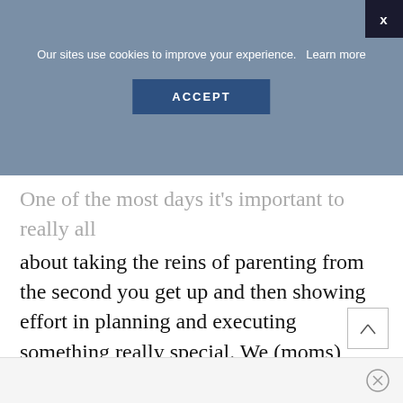Our sites use cookies to improve your experience.  Learn more
ACCEPT
One of the most important things is all about taking the reins of parenting from the second you get up and then showing effort in planning and executing something really special. We (moms) don't really care about the exact food or how instagrammable the picnic blanket is, but it sure doesn't hurt when it looks like you put real thought into us and the day.